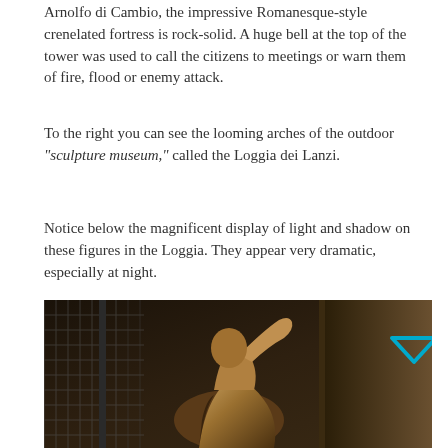Arnolfo di Cambio, the impressive Romanesque-style crenelated fortress is rock-solid. A huge bell at the top of the tower was used to call the citizens to meetings or warn them of fire, flood or enemy attack.
To the right you can see the looming arches of the outdoor “sculpture museum,” called the Loggia dei Lanzi.
Notice below the magnificent display of light and shadow on these figures in the Loggia. They appear very dramatic, especially at night.
[Figure (photo): A dark nighttime photograph of a sculpture figure in the Loggia dei Lanzi, Florence. The figure appears dramatic with strong contrast of light and shadow. A metal grid structure is visible on the left side of the image.]